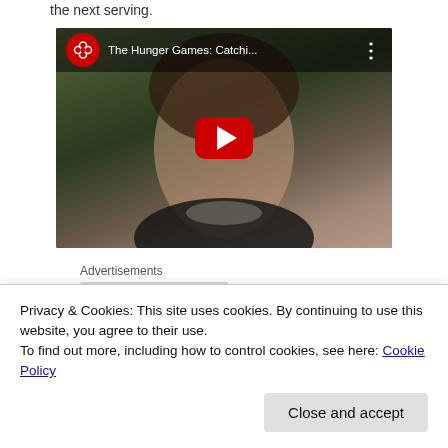the next serving.
[Figure (screenshot): YouTube video thumbnail for 'The Hunger Games: Catchi...' showing a close-up of a woman's face with a red YouTube play button overlay and YouTube logo in top-left corner.]
Advertisements
[Figure (photo): Advertisement image placeholder (pinkish-beige rectangle)]
Privacy & Cookies: This site uses cookies. By continuing to use this website, you agree to their use.
To find out more, including how to control cookies, see here: Cookie Policy
Close and accept